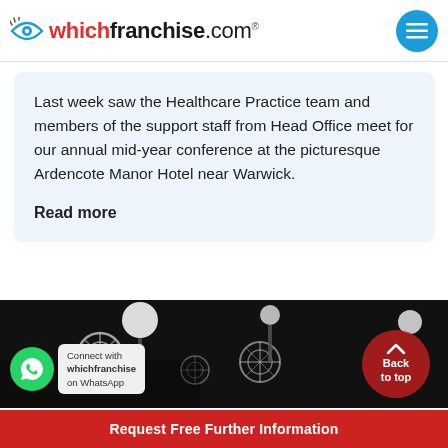whichfranchise.com®
Last week saw the Healthcare Practice team and members of the support staff from Head Office meet for our annual mid-year conference at the picturesque Ardencote Manor Hotel near Warwick.
Read more
[Figure (photo): Dark photograph of an event venue with hanging lights and decorative snowflake/gear-shaped ornaments suspended from the ceiling, taken at night.]
Connect with whichfranchise on WhatsApp
Request Free Further Information